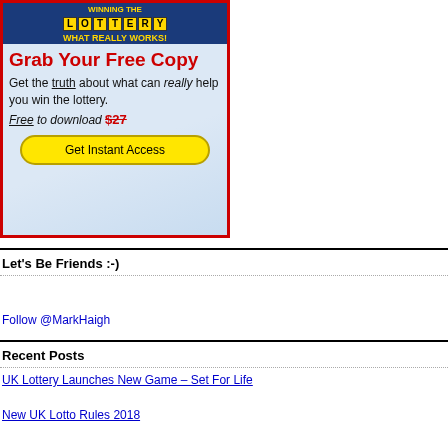[Figure (illustration): Advertisement banner for a lottery guide. Red border box with blue gradient background. Top shows 'WINNING THE LOTTERY' text with Scrabble-tile styled letters for 'LOTTERY' and 'WHAT REALLY WORKS!' subtitle on dark blue banner. Large red text: 'Grab Your Free Copy'. Body text: 'Get the truth about what can really help you win the lottery.' Free to download $27 (crossed out). Yellow rounded button: 'Get Instant Access'.]
Let's Be Friends :-)
Follow @MarkHaigh
Recent Posts
UK Lottery Launches New Game – Set For Life
New UK Lotto Rules 2018